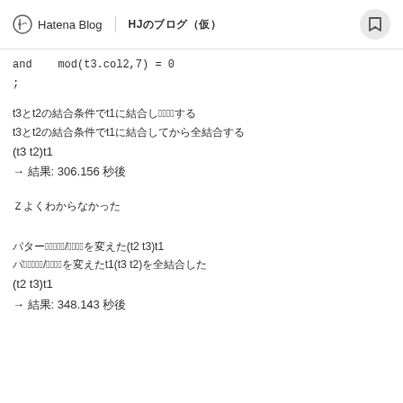Hatena Blog | HJのブログ（仮）
and   mod(t3.col2,7) = 0
;
t3とt2の結合条件でt1に結合して2回結合する
t3とt2の結合条件でt1に結合してから全結合する
(t3 t2)t1
→ 結果: 306.156 秒後
※よくわからなかった
パターン1：結合順/結合条件を変えた(t2 t3)t1
パス2：結合順/結合条件を変えたt1(t3 t2)を全結合した
(t2 t3)t1
→ 結果: 348.143 秒後